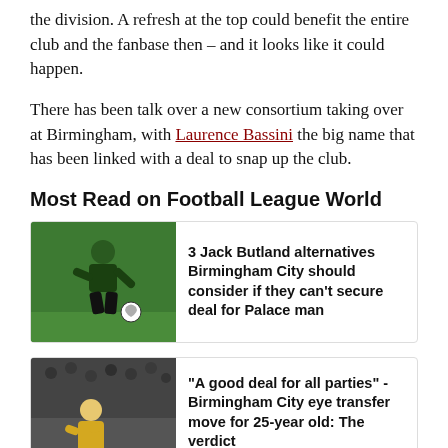the division. A refresh at the top could benefit the entire club and the fanbase then – and it looks like it could happen.
There has been talk over a new consortium taking over at Birmingham, with Laurence Bassini the big name that has been linked with a deal to snap up the club.
Most Read on Football League World
[Figure (photo): A goalkeeper in a green kit kneeling on the pitch with a football]
3 Jack Butland alternatives Birmingham City should consider if they can't secure deal for Palace man
[Figure (photo): A goalkeeper in a yellow/orange kit standing in front of a crowd]
"A good deal for all parties" - Birmingham City eye transfer move for 25-year old: The verdict